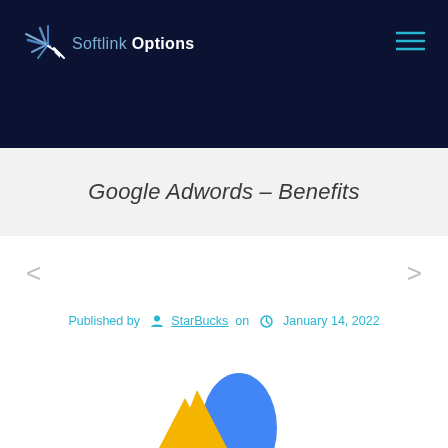Softlink Options
Google Adwords – Benefits
Published by StarBucks on January 14, 2022
[Figure (logo): Google Adwords logo — blue arch shape with yellow triangular base, partially visible at bottom of page]